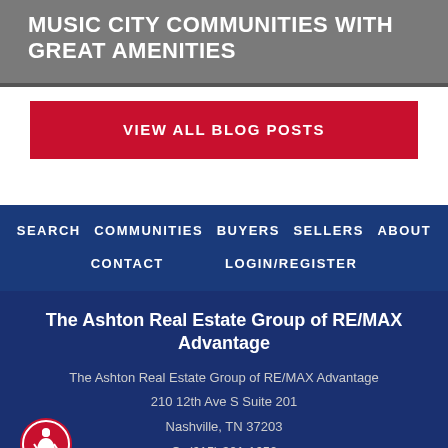MUSIC CITY COMMUNITIES WITH GREAT AMENITIES
VIEW ALL BLOG POSTS
SEARCH   COMMUNITIES   BUYERS   SELLERS   ABOUT
CONTACT   LOGIN/REGISTER
The Ashton Real Estate Group of RE/MAX Advantage
The Ashton Real Estate Group of RE/MAX Advantage
210 12th Ave S Suite 201
Nashville, TN 37203
O: (615) 301-1650